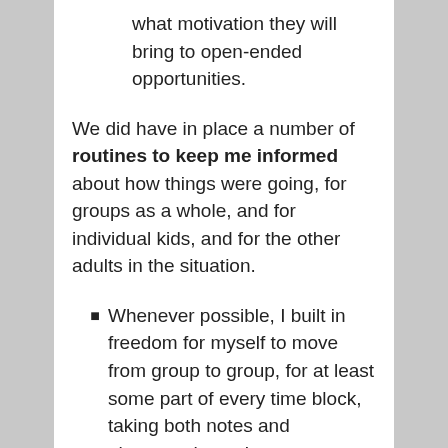what motivation they will bring to open-ended opportunities.
We did have in place a number of routines to keep me informed about how things were going, for groups as a whole, and for individual kids, and for the other adults in the situation.
Whenever possible, I built in freedom for myself to move from group to group, for at least some part of every time block, taking both notes and photographs as I went. (Otherwise, would I have this treasured shot of Lucy Candib and her group digging a